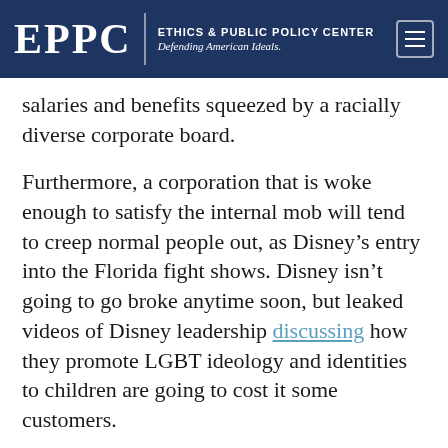EPPC | ETHICS & PUBLIC POLICY CENTER Defending American Ideals.
salaries and benefits squeezed by a racially diverse corporate board.
Furthermore, a corporation that is woke enough to satisfy the internal mob will tend to creep normal people out, as Disney’s entry into the Florida fight shows. Disney isn’t going to go broke anytime soon, but leaked videos of Disney leadership discussing how they promote LGBT ideology and identities to children are going to cost it some customers.
This sort of radicalism may also alienate workers, especially given the propensity of